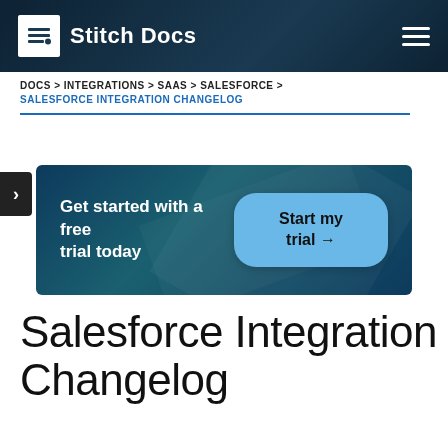Stitch Docs
DOCS > INTEGRATIONS > SAAS > SALESFORCE > SALESFORCE INTEGRATION CHANGELOG
[Figure (infographic): Promotional banner with dark navy background and geometric overlay shapes. Text reads 'Get started with a free trial today' with a light blue rounded button labeled 'Start my trial →']
Salesforce Integration Changelog